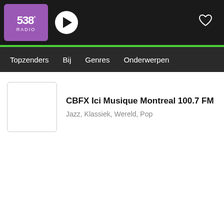[Figure (logo): Radio 538 purple logo with play button in top navigation bar]
Topzenders  Bij  Genres  Onderwerpen
[Figure (illustration): Empty white station logo box placeholder]
CBFX Ici Musique Montreal 100.7 FM
Jazz, Klassiek, Wereld, Pop